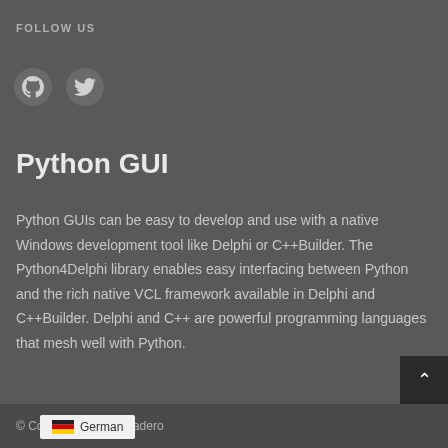FOLLOW US
[Figure (illustration): GitHub and Twitter social media icon circles]
Python GUI
Python GUIs can be easy to develop and use with a native Windows development tool like Delphi or C++Builder. The Python4Delphi library enables easy interfacing between Python and the rich native VCL framework available in Delphi and C++Builder. Delphi and C++ are powerful programming languages that mesh well with Python.
© Copyright ... Embarcadero
German